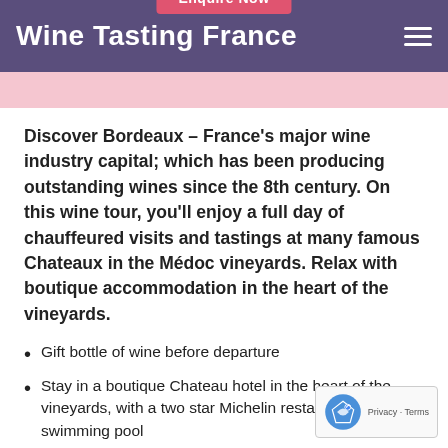Wine Tasting France
Discover Bordeaux – France's major wine industry capital; which has been producing outstanding wines since the 8th century. On this wine tour, you'll enjoy a full day of chauffeured visits and tastings at many famous Chateaux in the Médoc vineyards. Relax with boutique accommodation in the heart of the vineyards.
Gift bottle of wine before departure
Stay in a boutique Chateau hotel in the heart of the vineyards, with a two star Michelin restaurant and swimming pool
Explore Bordeaux's 5,700 hectares of vineyard during a full days private tour of the wine route